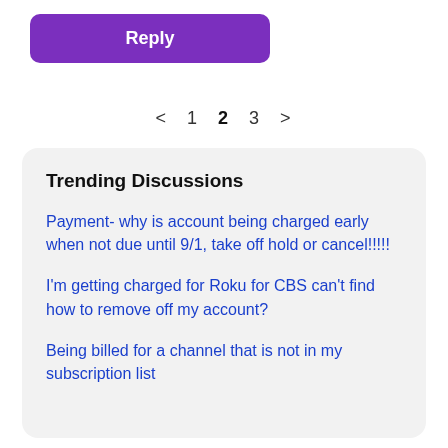Reply
< 1 2 3 >
Trending Discussions
Payment- why is account being charged early when not due until 9/1, take off hold or cancel!!!!!
I'm getting charged for Roku for CBS can't find how to remove off my account?
Being billed for a channel that is not in my subscription list